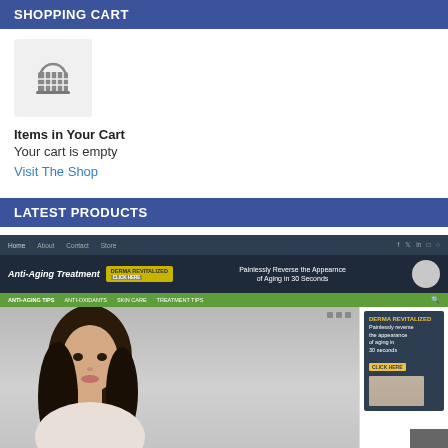SHOPPING CART
[Figure (illustration): Shopping basket/cart icon in grey on a light grey background box]
Items in Your Cart
Your cart is empty
Visit The Shop
LATEST PRODUCTS
[Figure (screenshot): Screenshot of an Anti-Aging Treatment website showing navigation bar with Home, About, Contact, Store links, green category bar with Anti-Aging Tips, Anti-Oxidants, Skin Care, Treatment Tips, a large photo of a woman with dark hair, and a Derma Revitalized sidebar advertisement. A back-to-top arrow button is visible in the bottom right corner. A Latest Posts section is partially visible at the bottom.]